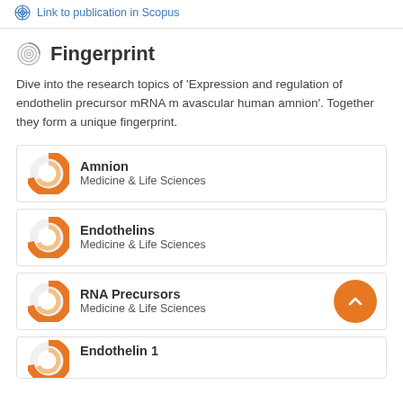Link to publication in Scopus
Fingerprint
Dive into the research topics of 'Expression and regulation of endothelin precursor mRNA m avascular human amnion'. Together they form a unique fingerprint.
Amnion
Medicine & Life Sciences
Endothelins
Medicine & Life Sciences
RNA Precursors
Medicine & Life Sciences
Endothelin 1